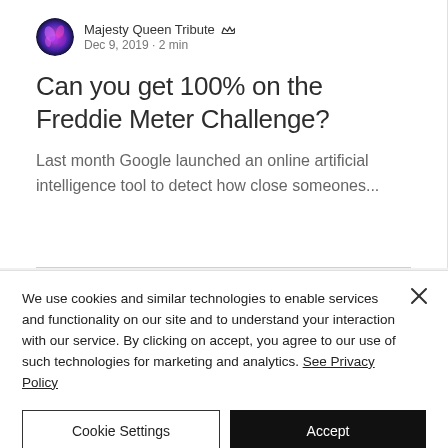[Figure (illustration): Circular avatar image with purple/pink abstract swirling colors representing the Majesty Queen Tribute profile picture]
Majesty Queen Tribute 👑
Dec 9, 2019 · 2 min
Can you get 100% on the Freddie Meter Challenge?
Last month Google launched an online artificial intelligence tool to detect how close someones...
We use cookies and similar technologies to enable services and functionality on our site and to understand your interaction with our service. By clicking on accept, you agree to our use of such technologies for marketing and analytics. See Privacy Policy